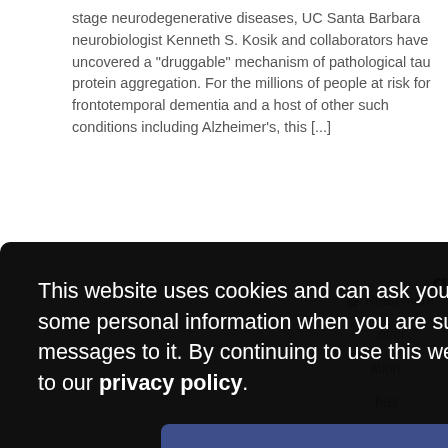stage neurodegenerative diseases, UC Santa Barbara neurobiologist Kenneth S. Kosik and collaborators have uncovered a "druggable" mechanism of pathological tau protein aggregation. For the millions of people at risk for frontotemporal dementia and a host of other such conditions including Alzheimer's, this [...]
Read more
[Figure (screenshot): Cookie consent overlay modal with dark background. Text reads: 'This website uses cookies and can ask you to provide some personal information when you are submitting your messages to it. By continuing to use this website you agree to our privacy policy.' with an 'OK, I agree' button.]
Read more